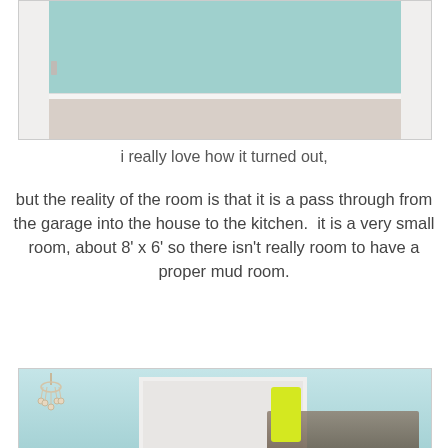[Figure (photo): Interior hallway/mud room with teal painted walls, white wainscoting molding, and tile floor visible at the bottom. View is looking down a narrow corridor.]
i really love how it turned out,
but the reality of the room is that it is a pass through from the garage into the house to the kitchen.  it is a very small room, about 8' x 6' so there isn't really room to have a proper mud room.
[Figure (photo): Small mud room/laundry area with teal painted walls, a chandelier on the left, and a door/closet area in the center with multiple coats hanging on hooks including a bright yellow/neon jacket.]